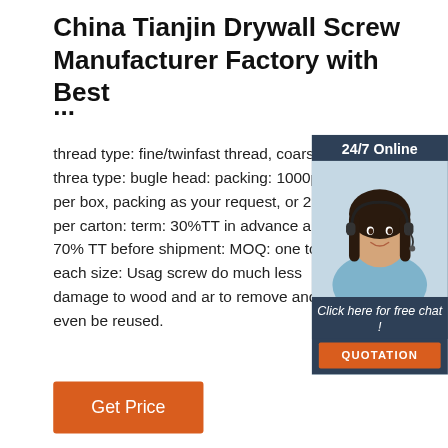China Tianjin Drywall Screw Manufacturer Factory with Best ...
thread type: fine/twinfast thread, coarse thread type: bugle head: packing: 1000pcs per box, packing as your request, or 25kg per carton: term: 30%TT in advance and 70% TT before shipment: MOQ: one ton for each size: Usage screw do much less damage to wood and are to remove and even be reused.
[Figure (illustration): Customer service representative widget with '24/7 Online' header, photo of a smiling woman with headset, 'Click here for free chat!' text, and orange QUOTATION button]
[Figure (other): Orange 'Get Price' button]